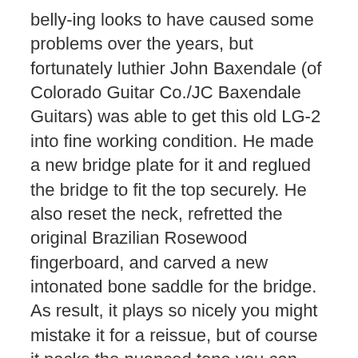belly-ing looks to have caused some problems over the years, but fortunately luthier John Baxendale (of Colorado Guitar Co./JC Baxendale Guitars) was able to get this old LG-2 into fine working condition. He made a new bridge plate for it and reglued the bridge to fit the top securely. He also reset the neck, refretted the original Brazilian Rosewood fingerboard, and carved a new intonated bone saddle for the bridge. As result, it plays so nicely you might mistake it for a reissue, but of course it packs the nuanced tone you can only get from a vintage original. And the played-in vibe and mojo are authentic—this is a real relic!
As for structural repairs, what's most obvious is a headstock repair. It involved some finish  work to mask the witness line, but it's neat, 100% stable, and doesn't cause any tuning issues. Other than that